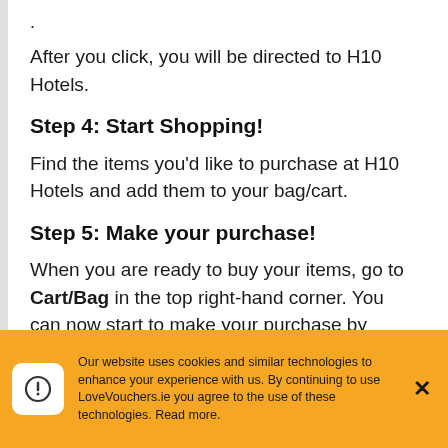.
After you click, you will be directed to H10 Hotels.
Step 4: Start Shopping!
Find the items you'd like to purchase at H10 Hotels and add them to your bag/cart.
Step 5: Make your purchase!
When you are ready to buy your items, go to Cart/Bag in the top right-hand corner. You can now start to make your purchase by clicking on 'CHECKOUT'. You may need to either sign in or create an account.
Our website uses cookies and similar technologies to enhance your experience with us. By continuing to use LoveVouchers.ie you agree to the use of these technologies. Read more.